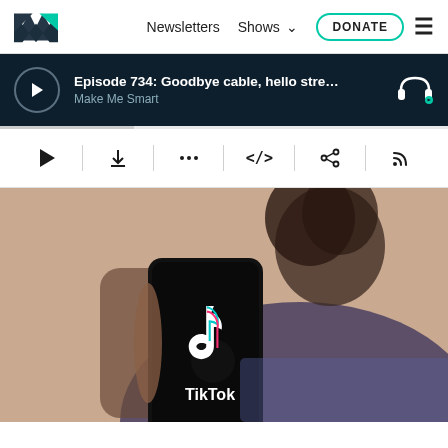Marketplace logo | Newsletters | Shows | DONATE | menu
Episode 734: Goodbye cable, hello stre… Make Me Smart
[Figure (screenshot): Audio player controls bar with play, download, more options, embed, share, and RSS icons]
[Figure (photo): A person holding a smartphone displaying the TikTok logo and app name]